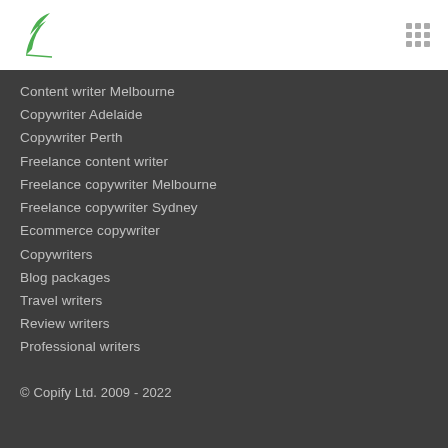[Figure (logo): Green leaf/quill logo for Copify]
Content writer Melbourne
Copywriter Adelaide
Copywriter Perth
Freelance content writer
Freelance copywriter Melbourne
Freelance copywriter Sydney
Ecommerce copywriter
Copywriters
Blog packages
Travel writers
Review writers
Professional writers
© Copify Ltd. 2009 - 2022